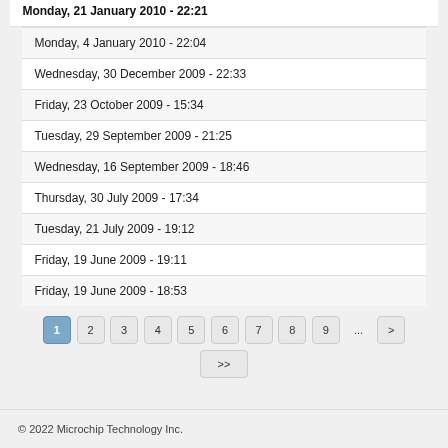Monday, 21 January 2010 - 22:21
Monday, 4 January 2010 - 22:04
Wednesday, 30 December 2009 - 22:33
Friday, 23 October 2009 - 15:34
Tuesday, 29 September 2009 - 21:25
Wednesday, 16 September 2009 - 18:46
Thursday, 30 July 2009 - 17:34
Tuesday, 21 July 2009 - 19:12
Friday, 19 June 2009 - 19:11
Friday, 19 June 2009 - 18:53
© 2022 Microchip Technology Inc.